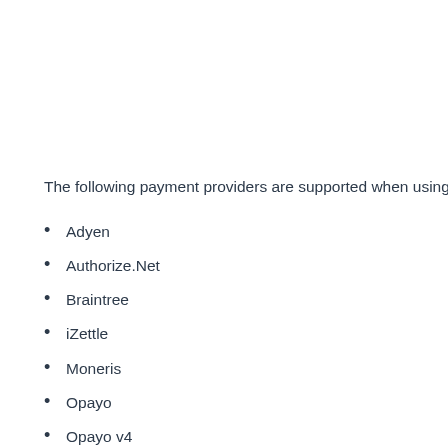The following payment providers are supported when using
Adyen
Authorize.Net
Braintree
iZettle
Moneris
Opayo
Opayo v4
PayPal Commerce
PayPal Flow